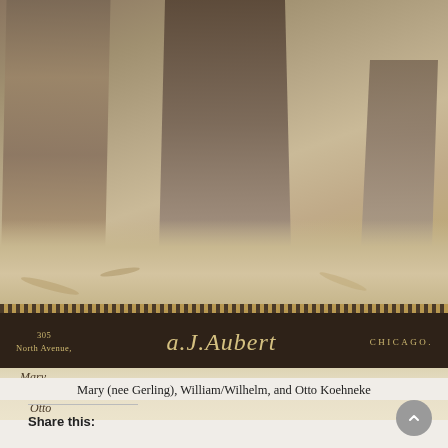[Figure (photo): Sepia-toned historical cabinet card photograph showing lower bodies and feet of three people standing outdoors, with studio label band at bottom reading '305 North Avenue, A.J. Aubert, CHICAGO.' Handwritten names below the studio band read 'Mary, Wilhelm/William Koehneke, Otto'.]
Mary (nee Gerling), William/Wilhelm, and Otto Koehneke
Share this: